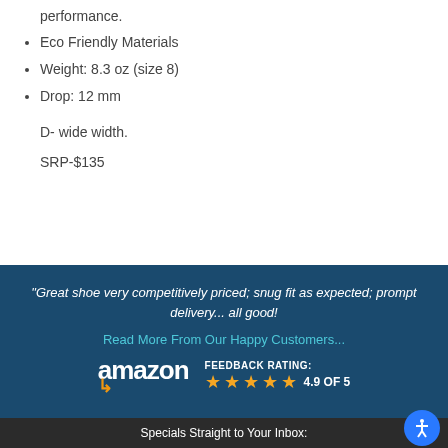performance.
Eco Friendly Materials
Weight: 8.3 oz (size 8)
Drop: 12 mm
D- wide width.
SRP-$135
"Great shoe very competitively priced; snug fit as expected; prompt delivery... all good!
Read More From Our Happy Customers...
amazon FEEDBACK RATING: 4.9 OF 5
Specials Straight to Your Inbox: